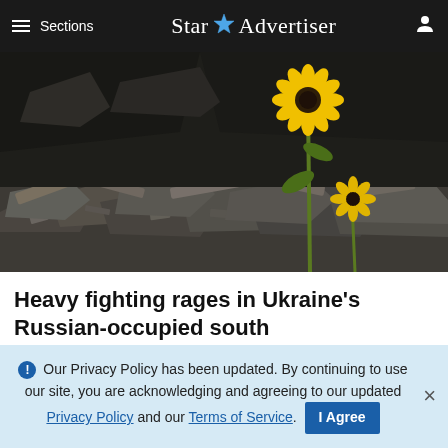≡ Sections   Star ✦ Advertiser
[Figure (photo): A sunflower growing amid rubble and debris, likely in a war-damaged area in Ukraine. Broken concrete, twisted metal, and gray debris fill the foreground, with the bright yellow sunflower standing tall against the dark background.]
Heavy fighting rages in Ukraine's Russian-occupied south
ADVERTISEMENT
Our Privacy Policy has been updated. By continuing to use our site, you are acknowledging and agreeing to our updated Privacy Policy and our Terms of Service. I Agree